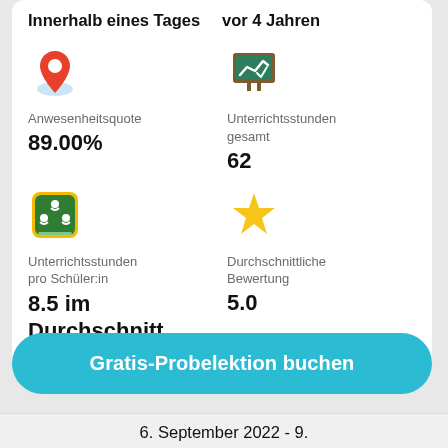Innerhalb eines Tages
vor 4 Jahren
[Figure (illustration): Red map/location pin icon with light blue circular base]
Anwesenheitsquote
89.00%
[Figure (illustration): Green chalkboard with white checkmark/chart icon, brown frame]
Unterrichtsstunden gesamt
62
[Figure (illustration): Green Google Classroom icon with two students and teacher figure]
Unterrichtsstunden pro Schüler:in
8.5 im Durchschnitt
[Figure (illustration): Gold/yellow star icon]
Durchschnittliche Bewertung
5.0
Gratis-Probelektion buchen
6. September 2022 - 9.